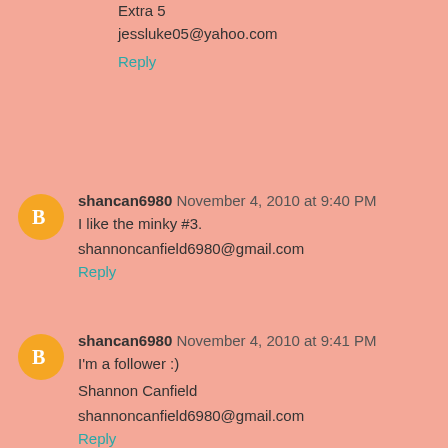Extra 5
jessluke05@yahoo.com
Reply
shancan6980  November 4, 2010 at 9:40 PM
I like the minky #3.
shannoncanfield6980@gmail.com
Reply
shancan6980  November 4, 2010 at 9:41 PM
I'm a follower :)
Shannon Canfield
shannoncanfield6980@gmail.com
Reply